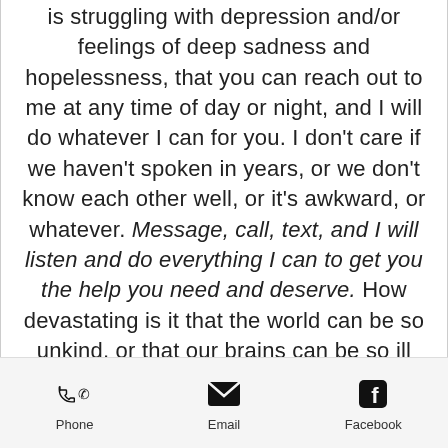is struggling with depression and/or feelings of deep sadness and hopelessness, that you can reach out to me at any time of day or night, and I will do whatever I can for you. I don't care if we haven't spoken in years, or we don't know each other well, or it's awkward, or whatever. Message, call, text, and I will listen and do everything I can to get you the help you need and deserve. How devastating is it that the world can be so unkind, or that our brains can be so ill that we feel that our time on this earth must come to an end. Please know that, if that is how
Phone  Email  Facebook